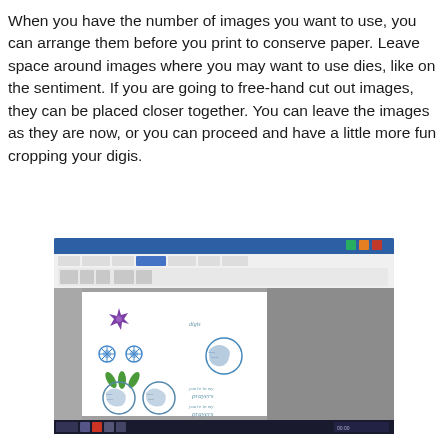When you have the number of images you want to use, you can arrange them before you print to conserve paper.  Leave space around images where you may want to use dies, like on the sentiment.  If you are going to free-hand cut out images, they can be placed closer together. You can leave the images as they are now, or you can proceed and have a little more fun cropping your digis.
[Figure (screenshot): Screenshot of Microsoft Word showing a document page with stamped floral digital images arranged on it, including purple and blue flowers, green leaves, circular patterned images, and cursive text sentiments. The right side of the page shows a grey area (outside page margin).]